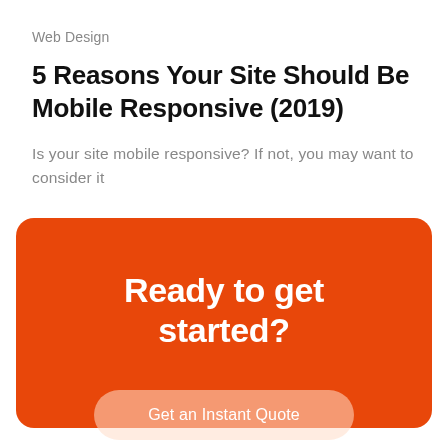Web Design
5 Reasons Your Site Should Be Mobile Responsive (2019)
Is your site mobile responsive? If not, you may want to consider it
[Figure (infographic): Orange rounded card with white text reading 'Ready to get started?' and a button labeled 'Get an Instant Quote']